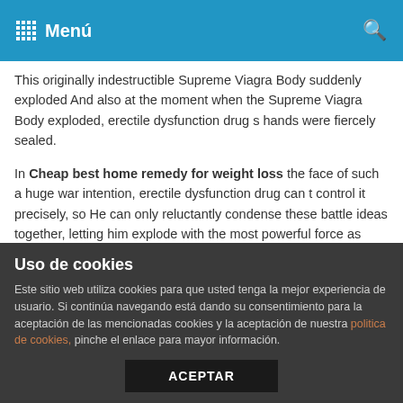Menú
This originally indestructible Supreme Viagra Body suddenly exploded And also at the moment when the Supreme Viagra Body exploded, erectile dysfunction drug s hands were fiercely sealed.
In Cheap best home remedy for weight loss the face of such a huge war intention, erectile dysfunction drug can t control it precisely, so He can only reluctantly condense these battle ideas together, letting him explode with the most powerful force as possible.
It seems how to lose 50 pounds in 6 weeks that the harvest this time is not small, Lin Jingmei said brightly and smilingly.
He rolled up a giant rock and shot it at a beam of light. However,
Uso de cookies
Este sitio web utiliza cookies para que usted tenga la mejor experiencia de usuario. Si continúa navegando está dando su consentimiento para la aceptación de las mencionadas cookies y la aceptación de nuestra politica de cookies, pinche el enlace para mayor información.
ACEPTAR